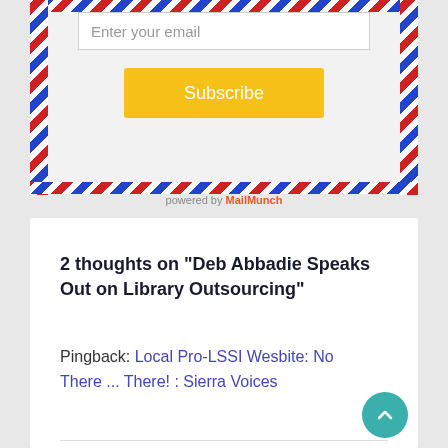[Figure (screenshot): Email subscription box with airmail border decoration, email input field, and yellow Subscribe button]
powered by MailMunch
2 thoughts on “Deb Abbadie Speaks Out on Library Outsourcing”
Pingback: Local Pro-LSSI Wesbite: No There ... There! : Sierra Voices